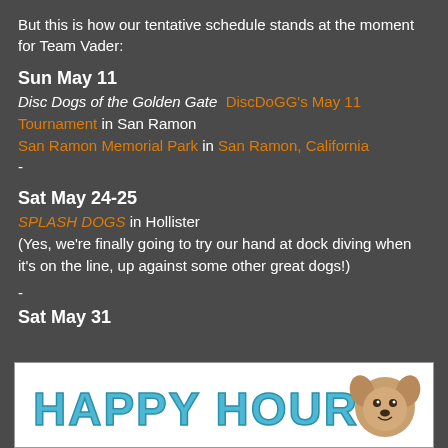But this is how our tentative schedule stands at the moment for Team Vader:
Sun May 11
Disc Dogs of the Golden Gate  DiscDoGG's May 11 Tournament in San Ramon
San Ramon Memorial Park in San Ramon, California
-
Sat May 24-25
SPLASH DOGS in Hollister
(Yes, we're finally going to try our hand at dock diving when it's on the line, up against some other great dogs!)
-
Sat May 31
[Figure (illustration): Happy Hour! text logo with a cartoon dog illustration on white background]